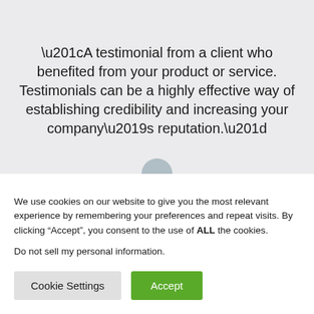“A testimonial from a client who benefited from your product or service. Testimonials can be a highly effective way of establishing credibility and increasing your company’s reputation.”
We use cookies on our website to give you the most relevant experience by remembering your preferences and repeat visits. By clicking “Accept”, you consent to the use of ALL the cookies.
Do not sell my personal information.